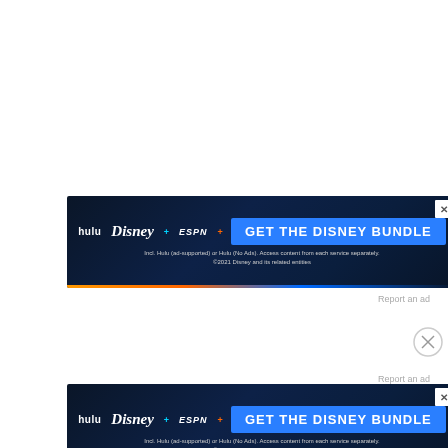[Figure (screenshot): Disney Bundle advertisement banner showing Hulu, Disney+, and ESPN+ logos with 'GET THE DISNEY BUNDLE' CTA button on dark blue background. Small text reads 'Incl. Hulu (ad-supported) or Hulu (No Ads). Access content from each service separately. ©2021 Disney and its related entities'. Close button (X) at top right.]
Report an ad
[Figure (screenshot): Second Disney Bundle advertisement banner identical to the first, showing Hulu, Disney+, and ESPN+ logos with 'GET THE DISNEY BUNDLE' CTA button on dark blue background with same fine print text.]
Report an ad